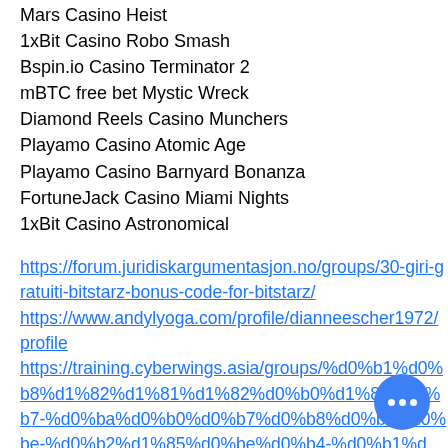Mars Casino Heist
1xBit Casino Robo Smash
Bspin.io Casino Terminator 2
mBTC free bet Mystic Wreck
Diamond Reels Casino Munchers
Playamo Casino Atomic Age
Playamo Casino Barnyard Bonanza
FortuneJack Casino Miami Nights
1xBit Casino Astronomical
https://forum.juridiskargumentasjon.no/groups/30-giri-gratuiti-bitstarz-bonus-code-for-bitstarz/ https://www.andylyoga.com/profile/dianneescher1972/profile https://training.cyberwings.asia/groups/%d0%b1%d0%b8%d1%82%d1%81%d1%82%d0%b0%d1%80%d0%b7-%d0%ba%d0%b0%d0%b7%d0%b8%d0%bd%d0%be-%d0%b2%d1%85%d0%be%d0%b4%d0%b4-%d0%bf%d1%80%d0%be%d0%bc%d0%be%d0%bc%d0%be%d0%b4%d0%be%d0%b1%d0%be-%d0%b2%d1%85%d0%be%d0%b4%d0%b0-%d0%ba%d0%b0%d0%b7%d0%b8%d0%bd%d0%be-%d0%b1%d0%be%d0%bd%d1%83%d1%81%d0%b0...